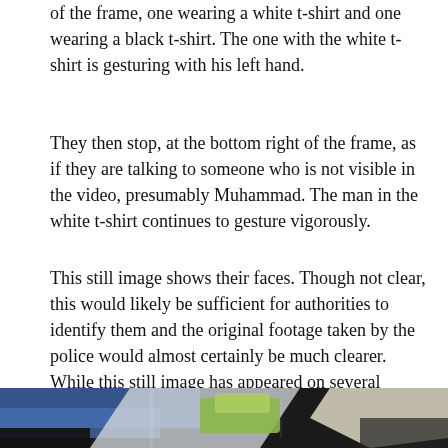of the frame, one wearing a white t-shirt and one wearing a black t-shirt. The one with the white t-shirt is gesturing with his left hand.
They then stop, at the bottom right of the frame, as if they are talking to someone who is not visible in the video, presumably Muhammad. The man in the white t-shirt continues to gesture vigorously.
This still image shows their faces. Though not clear, this would likely be sufficient for authorities to identify them and the original footage taken by the police would almost certainly be much clearer. While this still image has appeared on several websites, the video above is published for the first time, here at The Electronic Intifada.
[Figure (photo): A blurry still image from a video showing close-up of objects or surfaces with blue, green/yellow, and white elements visible.]